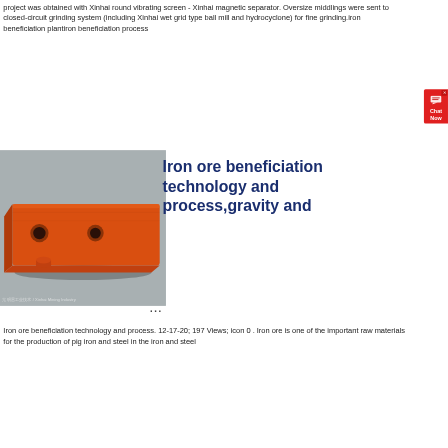project was obtained with Xinhai round vibrating screen - Xinhai magnetic separator. Oversize middlings were sent to closed-circuit grinding system (including Xinhai wet grid type ball mill and hydrocyclone) for fine grinding.iron beneficiation plantüiron beneficiation process
[Figure (photo): Photo of an orange rectangular metal plate/liner with two holes, placed on a grey surface. Watermark reads: Xinhai Mining Industry]
Iron ore beneficiation technology and process,gravity and ...
Iron ore beneficiation technology and process. 12-17-20; 197 Views; icon 0 . Iron ore is one of the important raw materials for the production of pig iron and steel in the iron and steel